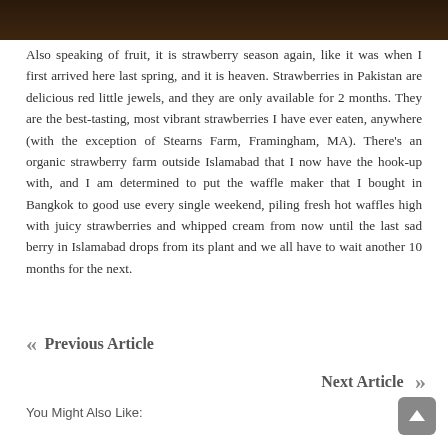[Figure (photo): Dark brown/black background photo, top portion visible, appears to be a wooden surface or dark food photograph]
Also speaking of fruit, it is strawberry season again, like it was when I first arrived here last spring, and it is heaven. Strawberries in Pakistan are delicious red little jewels, and they are only available for 2 months. They are the best-tasting, most vibrant strawberries I have ever eaten, anywhere (with the exception of Stearns Farm, Framingham, MA). There’s an organic strawberry farm outside Islamabad that I now have the hook-up with, and I am determined to put the waffle maker that I bought in Bangkok to good use every single weekend, piling fresh hot waffles high with juicy strawberries and whipped cream from now until the last sad berry in Islamabad drops from its plant and we all have to wait another 10 months for the next.
Previous Article
Next Article
You Might Also Like: